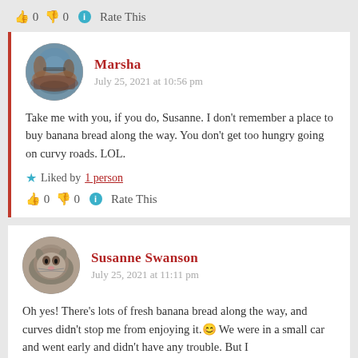👍 0 👎 0 ℹ Rate This
Marsha
July 25, 2021 at 10:56 pm
Take me with you, if you do, Susanne. I don't remember a place to buy banana bread along the way. You don't get too hungry going on curvy roads. LOL.
★ Liked by 1 person
👍 0 👎 0 ℹ Rate This
Susanne Swanson
July 25, 2021 at 11:11 pm
Oh yes! There's lots of fresh banana bread along the way, and curves didn't stop me from enjoying it.😊 We were in a small car and went early and didn't have any trouble. But I